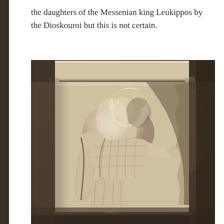the daughters of the Messenian king Leukippos by the Dioskouroi but this is not certain.
[Figure (photo): A marble relief sculpture fragment showing a figure in draped clothing, carved in classical Greek style. The figure appears to be reaching or gesturing with one hand. The relief is weathered and partially damaged, displayed against a dark museum background.]